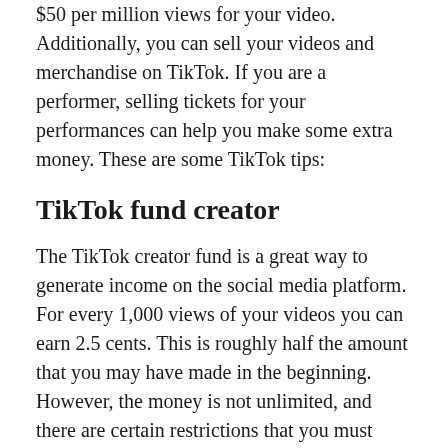$50 per million views for your video. Additionally, you can sell your videos and merchandise on TikTok. If you are a performer, selling tickets for your performances can help you make some extra money. These are some TikTok tips:
TikTok fund creator
The TikTok creator fund is a great way to generate income on the social media platform. For every 1,000 views of your videos you can earn 2.5 cents. This is roughly half the amount that you may have made in the beginning. However, the money is not unlimited, and there are certain restrictions that you must adhere to. Here are a few things that you should do to maximize your earnings on the platform. Let's